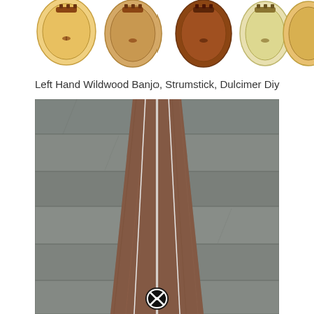[Figure (photo): Row of five wooden banjo/dulcimer heads viewed from front, showing tuning pegs and sound holes, against white background]
Left Hand Wildwood Banjo, Strumstick, Dulcimer Diy
[Figure (photo): Close-up photo of a wooden dulcimer or strumstick neck/fretboard leaning against a grey wooden wall background, showing three strings running along the length of the instrument. A close button (X in circle) is visible at the bottom center.]